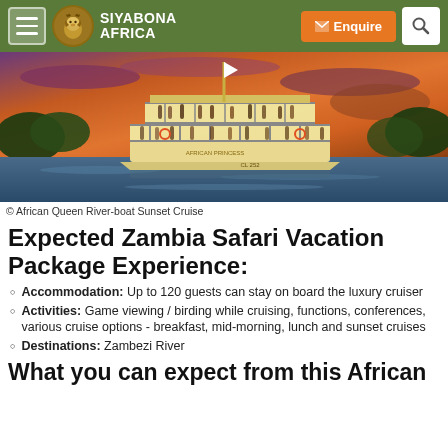Siyabona Africa | Enquire | Search
[Figure (photo): African Queen River-boat cruise on the Zambezi River at sunset, two-deck white boat crowded with passengers, dramatic orange-purple sky]
© African Queen River-boat Sunset Cruise
Expected Zambia Safari Vacation Package Experience:
Accommodation: Up to 120 guests can stay on board the luxury cruiser
Activities: Game viewing / birding while cruising, functions, conferences, various cruise options - breakfast, mid-morning, lunch and sunset cruises
Destinations: Zambezi River
What you can expect from this African Queen Safari Experience: